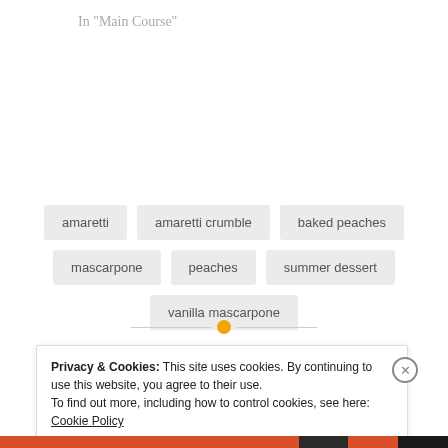In "Main Course"
amaretti
amaretti crumble
baked peaches
mascarpone
peaches
summer dessert
vanilla mascarpone
[Figure (other): Decorative divider: horizontal lines with an orange dot in the center]
Privacy & Cookies: This site uses cookies. By continuing to use this website, you agree to their use.
To find out more, including how to control cookies, see here: Cookie Policy
Close and accept